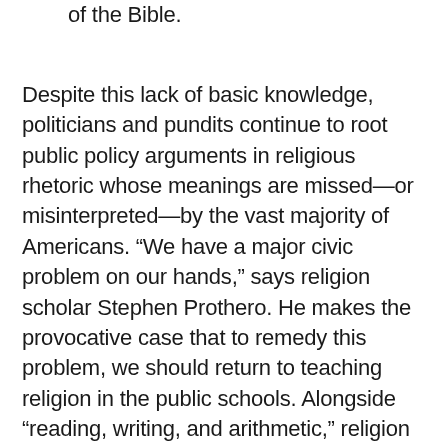of the Bible.
Despite this lack of basic knowledge, politicians and pundits continue to root public policy arguments in religious rhetoric whose meanings are missed—or misinterpreted—by the vast majority of Americans. “We have a major civic problem on our hands,” says religion scholar Stephen Prothero. He makes the provocative case that to remedy this problem, we should return to teaching religion in the public schools. Alongside “reading, writing, and arithmetic,” religion ought to become the “Fourth R” of American education. Many believe that America’s descent into religious illiteracy was the doing of activist judges and secularists hell-bent on banishing religion